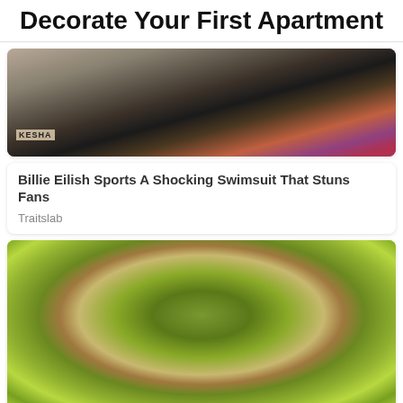Decorate Your First Apartment
[Figure (photo): Mirror selfie of Billie Eilish holding a phone, with colorful art visible in background. KESHA label visible bottom left.]
Billie Eilish Sports A Shocking Swimsuit That Stuns Fans
Traitslab
[Figure (photo): Close-up of a person wearing a green face mask and a lime green hair towel, eyes closed.]
Keep Your Skin F[CLOSE]s With These